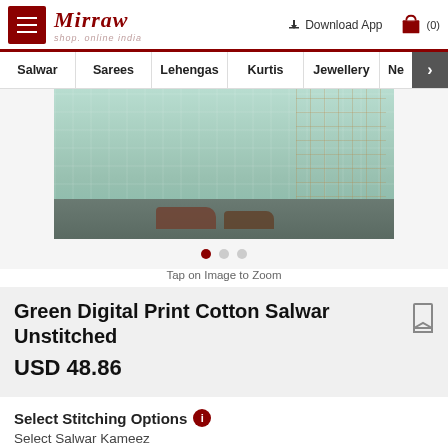Mirraw — shop online india | Download App | Cart (0)
Salwar | Sarees | Lehengas | Kurtis | Jewellery | Ne >
[Figure (photo): Product photograph showing bottom half of model wearing green/mint cotton salwar kameez with printed dupatta]
Tap on Image to Zoom
Green Digital Print Cotton Salwar Unstitched
USD 48.86
Select Stitching Options
Select Salwar Kameez
Semi Stitched Material - Free